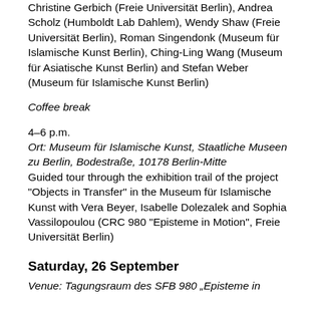Christine Gerbich (Freie Universität Berlin), Andrea Scholz (Humboldt Lab Dahlem), Wendy Shaw (Freie Universität Berlin), Roman Singendonk (Museum für Islamische Kunst Berlin), Ching-Ling Wang (Museum für Asiatische Kunst Berlin) and Stefan Weber (Museum für Islamische Kunst Berlin)
Coffee break
4–6 p.m.
Ort: Museum für Islamische Kunst, Staatliche Museen zu Berlin, Bodestraße, 10178 Berlin-Mitte
Guided tour through the exhibition trail of the project "Objects in Transfer" in the Museum für Islamische Kunst with Vera Beyer, Isabelle Dolezalek and Sophia Vassilopoulou (CRC 980 "Episteme in Motion", Freie Universität Berlin)
Saturday, 26 September
Venue: Tagungsraum des SFB 980 „Episteme in